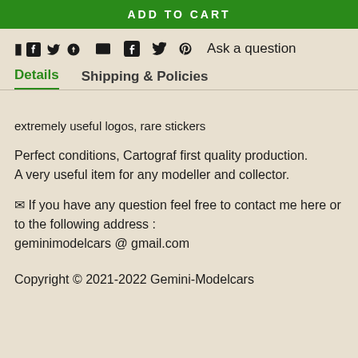ADD TO CART
🖙 🐦 𝗣  Ask a question
Details   Shipping & Policies
extremely useful logos, rare stickers
Perfect conditions, Cartograf first quality production.
A very useful item for any modeller and collector.
✉ If you have any question feel free to contact me here or to the following address :
geminimodelcars @ gmail.com
Copyright © 2021-2022 Gemini-Modelcars